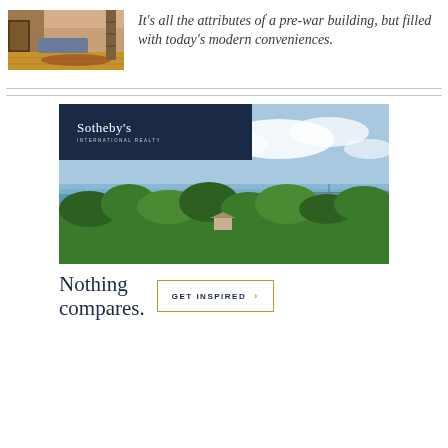[Figure (photo): Interior room photo showing hardwood floor hallway with furniture and warm lighting]
It’s all the attributes of a pre-war building, but filled with today’s modern conveniences.
[Figure (photo): Sotheby’s International Realty advertisement showing aerial view of green treetops with water and sky in the background, with Sotheby’s logo overlay on dark navy background]
Nothing compares.
GET INSPIRED ›